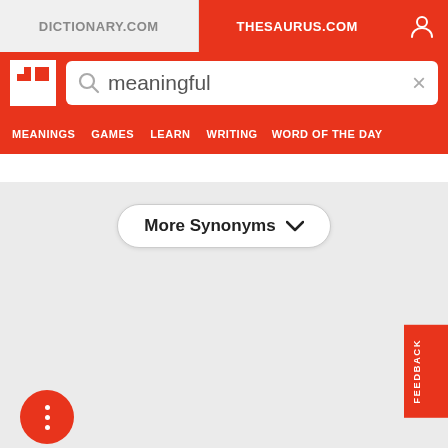DICTIONARY.COM | THESAURUS.COM
[Figure (screenshot): Thesaurus.com website header with search bar containing 'meaningful', navigation menu with MEANINGS, GAMES, LEARN, WRITING, WORD OF THE DAY]
More Synonyms ▾
FEEDBACK